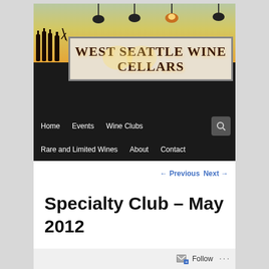[Figure (photo): West Seattle Wine Cellars storefront sign photo with glowing lights, bottle silhouettes, and warm sunset sky background]
Home | Events | Wine Clubs | Rare and Limited Wines | About | Contact
← Previous  Next →
Specialty Club – May 2012
Follow  ...